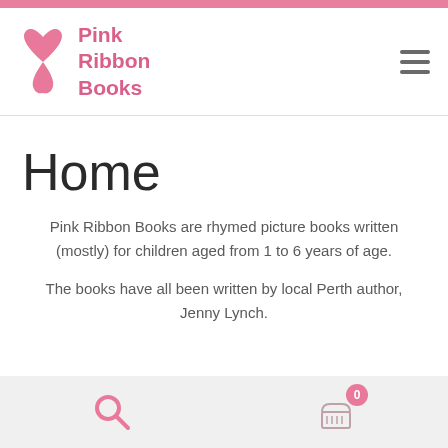Pink Ribbon Books
Home
Pink Ribbon Books are rhymed picture books written (mostly) for children aged from 1 to 6 years of age.
The books have all been written by local Perth author, Jenny Lynch.
Search | Cart (0)